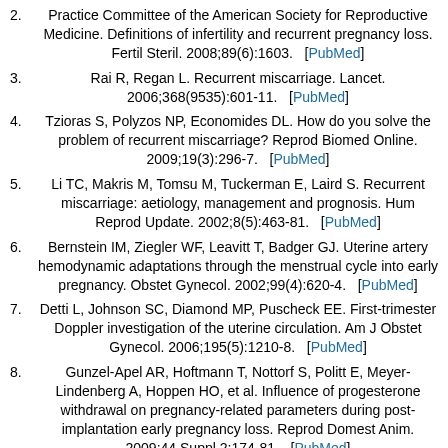2. Practice Committee of the American Society for Reproductive Medicine. Definitions of infertility and recurrent pregnancy loss. Fertil Steril. 2008;89(6):1603. [PubMed]
3. Rai R, Regan L. Recurrent miscarriage. Lancet. 2006;368(9535):601-11. [PubMed]
4. Tzioras S, Polyzos NP, Economides DL. How do you solve the problem of recurrent miscarriage? Reprod Biomed Online. 2009;19(3):296-7. [PubMed]
5. Li TC, Makris M, Tomsu M, Tuckerman E, Laird S. Recurrent miscarriage: aetiology, management and prognosis. Hum Reprod Update. 2002;8(5):463-81. [PubMed]
6. Bernstein IM, Ziegler WF, Leavitt T, Badger GJ. Uterine artery hemodynamic adaptations through the menstrual cycle into early pregnancy. Obstet Gynecol. 2002;99(4):620-4. [PubMed]
7. Detti L, Johnson SC, Diamond MP, Puscheck EE. First-trimester Doppler investigation of the uterine circulation. Am J Obstet Gynecol. 2006;195(5):1210-8. [PubMed]
8. Gunzel-Apel AR, Hoftmann T, Nottorf S, Politt E, Meyer-Lindenberg A, Hoppen HO, et al. Influence of progesterone withdrawal on pregnancy-related parameters during post-implantation early pregnancy loss. Reprod Domest Anim. 2009;44 Suppl 2:174-81. [PubMed]